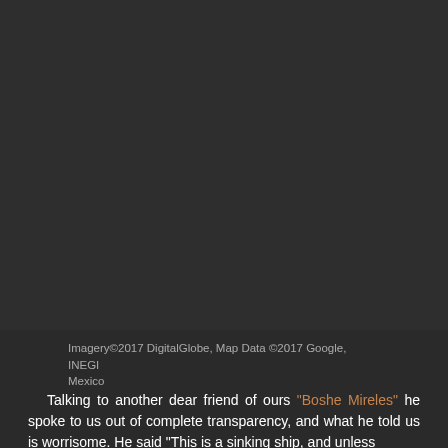Mexico
[Figure (map): Satellite/aerial map image of Mexico area, dark background, map data from DigitalGlobe and Google INEGI Mexico 2017]
Imagery©2017 DigitalGlobe, Map Data ©2017 Google, INEGI Mexico
Talking to another dear friend of ours "Boshe Mireles" he spoke to us out of complete transparency, and what he told us is worrisome. He said "This is a sinking ship, and unless